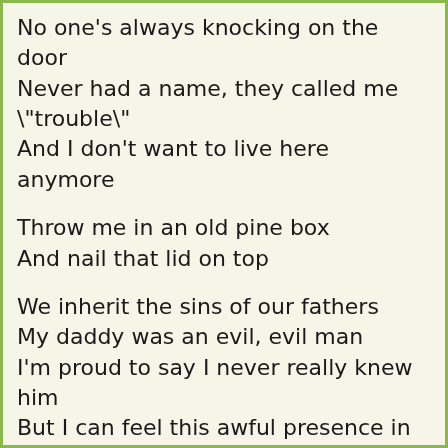No one's always knocking on the door
Never had a name, they called me "trouble"
And I don't want to live here anymore

Throw me in an old pine box
And nail that lid on top

We inherit the sins of our fathers
My daddy was an evil, evil man
I'm proud to say I never really knew him
But I can feel this awful presence in my skin
Who's that young one crouching in the corner?
Why, sir, are you hanging from that tree?
What's that thing scratching beneath the floorboards?
This town, it just don't feel the same to me